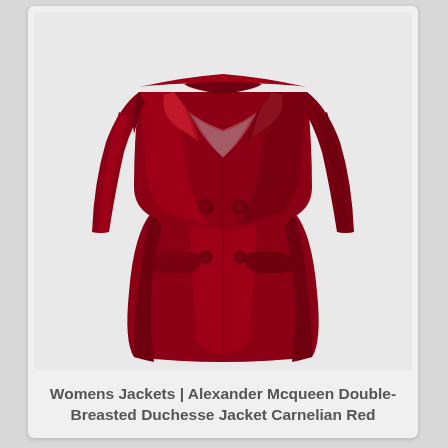[Figure (photo): A carnelian red double-breasted duchesse jacket by Alexander McQueen, shown as a product photo on a light grey background. The jacket features a deep V-neckline with satin lapels, long sleeves, two front flap pockets, and decorative buttons at the waist.]
Womens Jackets | Alexander Mcqueen Double-Breasted Duchesse Jacket Carnelian Red